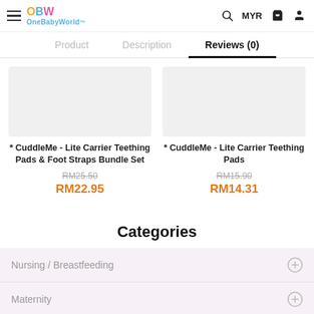OneBabyWorld — MYR
Product | Description | Reviews (0)
[Figure (photo): Product image placeholder for CuddleMe Lite Carrier Teething Pads & Foot Straps Bundle Set]
* CuddleMe - Lite Carrier Teething Pads & Foot Straps Bundle Set
RM25.50
RM22.95
[Figure (photo): Product image placeholder for CuddleMe Lite Carrier Teething Pads]
* CuddleMe - Lite Carrier Teething Pads
RM15.90
RM14.31
Categories
Nursing / Breastfeeding
Maternity